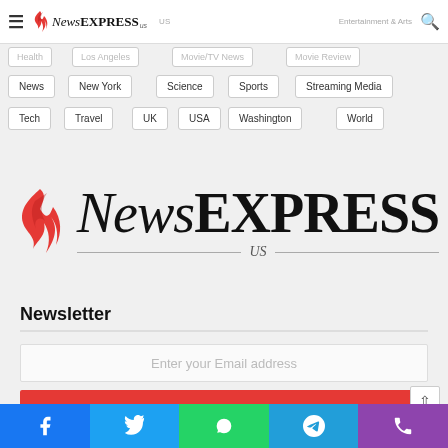[Figure (logo): NewsEXPRESS US logo in navigation bar with hamburger menu and search icon]
Health
Los Angeles
Movie/TV News
Movie Review
News
New York
Science
Sports
Streaming Media
Tech
Travel
UK
USA
Washington
World
[Figure (logo): Large NewsEXPRESS US logo with red flame icon and horizontal rules flanking US]
Newsletter
Enter your Email address